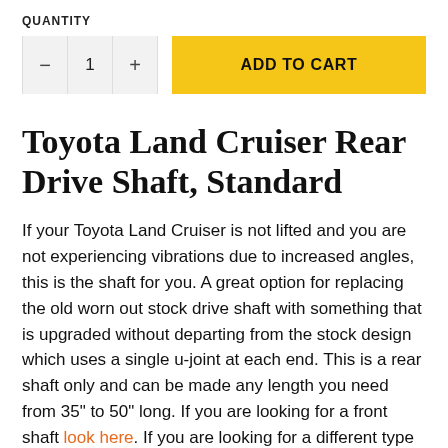QUANTITY
[Figure (screenshot): Quantity selector with minus button, value 1, plus button, and yellow ADD TO CART button]
Toyota Land Cruiser Rear Drive Shaft, Standard
If your Toyota Land Cruiser is not lifted and you are not experiencing vibrations due to increased angles, this is the shaft for you. A great option for replacing the old worn out stock drive shaft with something that is upgraded without departing from the stock design which uses a single u-joint at each end. This is a rear shaft only and can be made any length you need from 35" to 50" long. If you are looking for a front shaft look here. If you are looking for a different type or different length shaft, check out